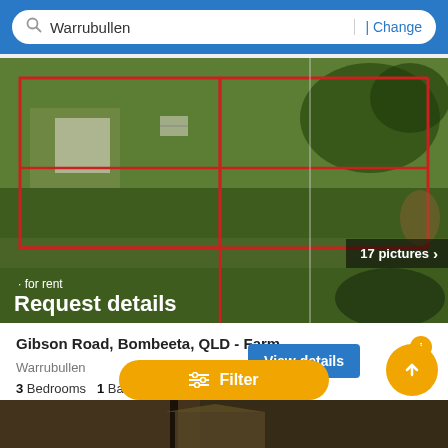[Figure (screenshot): Search bar with magnifying glass icon, text 'Warrubullen', and a '| Change' link on blue background]
[Figure (photo): Aerial satellite view of a farm property with red boundary lines, green fields, and some structures. Overlay shows '17 pictures >', 'for rent', and 'Request details' text.]
Gibson Road, Bombeeta, QLD - Farm
Warrubullen
3 Bedrooms  1 Bath
Farm
First seen over a mo...
[Figure (screenshot): Bottom image strip showing top portion of another property photo]